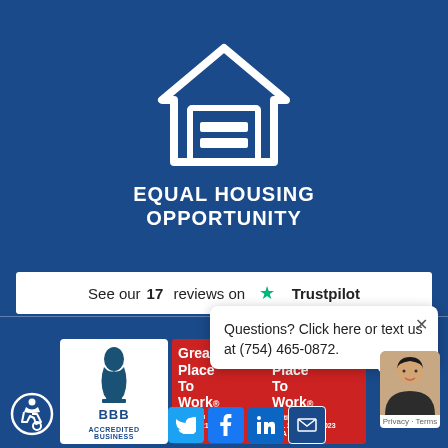[Figure (logo): Equal Housing Opportunity logo — white house outline with equal sign inside on dark blue background, with text EQUAL HOUSING OPPORTUNITY below]
See our 17 reviews on ★ Trustpilot
Questions? Click here or text us at (754) 465-0872.
[Figure (logo): Accessibility icon (wheelchair symbol) in circle outline]
[Figure (logo): BBB Accredited Business badge with blue torch logo and text BBB ACCREDITED BUSINESS]
[Figure (logo): Great Place To Work certified badge (red) — JUL 2021 JUL 2022 USA]
[Figure (logo): Great Place To Work certified badge (red) — JUL 2022-JUL 2023 USA]
[Figure (logo): Social media icons: Twitter, Facebook, LinkedIn, Email]
[Figure (photo): Chat agent avatar — woman smiling, with notification badge showing 1, and Privacy · Terms text below]